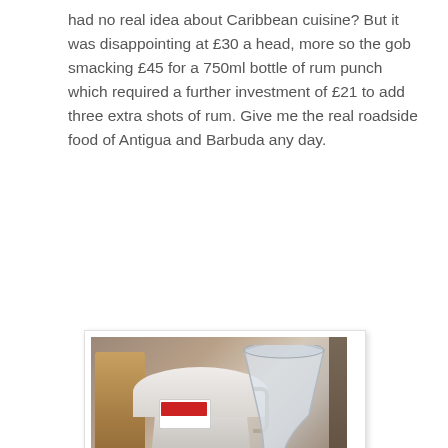had no real idea about Caribbean cuisine? But it was disappointing at £30 a head, more so the gob smacking £45 for a 750ml bottle of rum punch which required a further investment of £21 to add three extra shots of rum. Give me the real roadside food of Antigua and Barbuda any day.
[Figure (photo): A polaroid-style photograph of a large glass jug or pitcher of rum punch, with a white/clear vessel, on a wooden surface with chairs visible in the background.]
rum punch